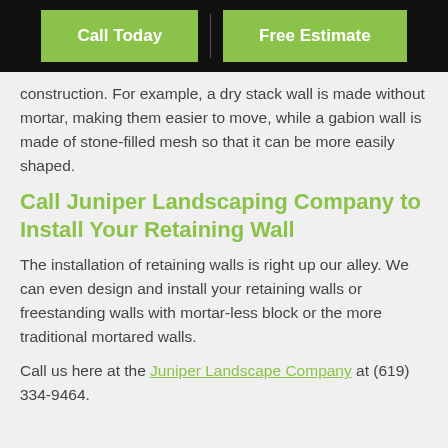Call Today | Free Estimate
construction. For example, a dry stack wall is made without mortar, making them easier to move, while a gabion wall is made of stone-filled mesh so that it can be more easily shaped.
Call Juniper Landscaping Company to Install Your Retaining Wall
The installation of retaining walls is right up our alley. We can even design and install your retaining walls or freestanding walls with mortar-less block or the more traditional mortared walls.
Call us here at the Juniper Landscape Company at (619) 334-9464.